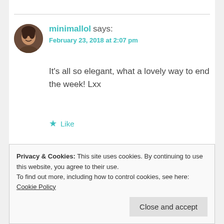minimallol says: February 23, 2018 at 2:07 pm
It’s all so elegant, what a lovely way to end the week! Lxx
★ Like
Privacy & Cookies: This site uses cookies. By continuing to use this website, you agree to their use. To find out more, including how to control cookies, see here: Cookie Policy
Close and accept